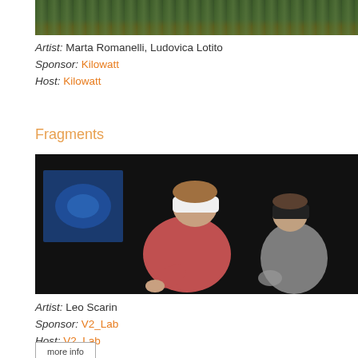[Figure (photo): Outdoor photo showing green hedge/wall with yellow-orange ground, partially cropped at top]
Artist: Marta Romanelli, Ludovica Lotito
Sponsor: Kilowatt
Host: Kilowatt
Fragments
[Figure (photo): Dark photo of two people wearing VR headsets in a darkened room, one in a pink/red top leaning forward, another behind them, with a blue screen on the left]
Artist: Leo Scarin
Sponsor: V2_Lab
Host: V2_Lab
more info